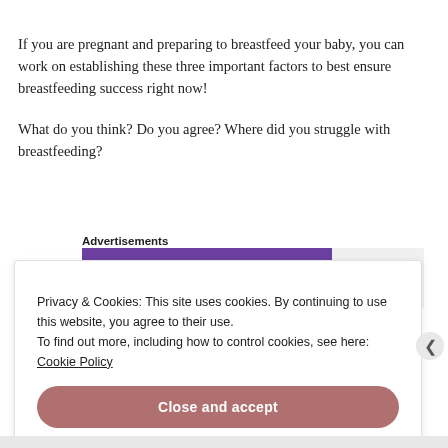If you are pregnant and preparing to breastfeed your baby, you can work on establishing these three important factors to best ensure breastfeeding success right now!
What do you think? Do you agree? Where did you struggle with breastfeeding?
Advertisements
[Figure (other): WooCommerce advertisement banner with purple background and white logo text]
Privacy & Cookies: This site uses cookies. By continuing to use this website, you agree to their use. To find out more, including how to control cookies, see here: Cookie Policy
Close and accept